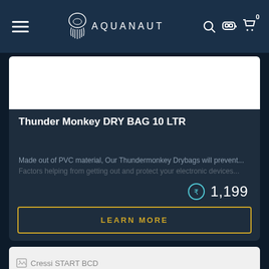AQUANAUT
[Figure (screenshot): Aquanaut e-commerce website screenshot showing navigation bar with hamburger menu, jellyfish logo, AQUANAUT text, search icon, diver mask icon, and shopping cart with 0 badge]
Thunder Monkey DRY BAG 10 LTR
Made out of PVC material, Our Thundermonkey Drybags will prevent... Factors helping from getting out and protect your electronic devices...
₹ 1,199
LEARN MORE
[Figure (screenshot): Partial product card showing Cressi START BCD product image placeholder]